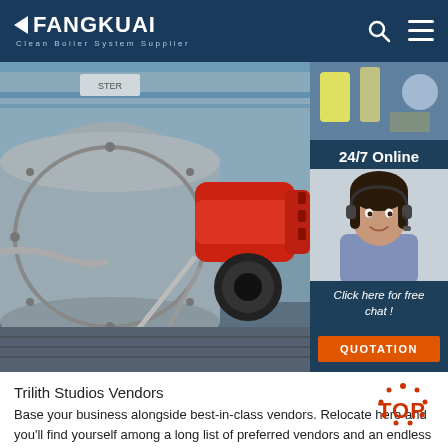FANGKUAI Clean Boiler System Supplier
[Figure (photo): Industrial boiler with red burner attachment in a facility; right panel shows small equipment photo, customer service agent with headset, '24/7 Online' text, 'Click here for free chat!' text, and orange QUOTATION button]
Trilith Studios Vendors
Base your business alongside best-in-class vendors. Relocate here and you'll find yourself among a long list of preferred vendors and an endless list of clients. your next great endeavor is here. See available leasing spaces for your storefront or headquarters. view spaces